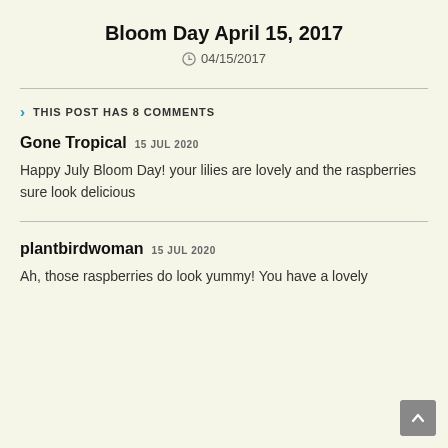Bloom Day April 15, 2017
04/15/2017
THIS POST HAS 8 COMMENTS
Gone Tropical 15 JUL 2020
Happy July Bloom Day! your lilies are lovely and the raspberries sure look delicious
plantbirdwoman 15 JUL 2020
Ah, those raspberries do look yummy! You have a lovely